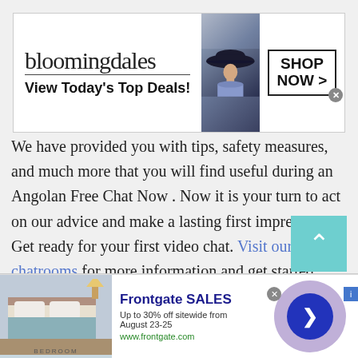[Figure (screenshot): Bloomingdale's advertisement banner with logo, fashion model wearing large hat, and 'SHOP NOW >' button]
We have provided you with tips, safety measures, and much more that you will find useful during an Angolan Free Chat Now . Now it is your turn to act on our advice and make a lasting first impression. Get ready for your first video chat. Visit our chatrooms for more information and get started now!
[Figure (screenshot): Frontgate SALES advertisement: Up to 30% off sitewide from August 23-25, www.frontgate.com, showing bedroom image and navigation arrow]